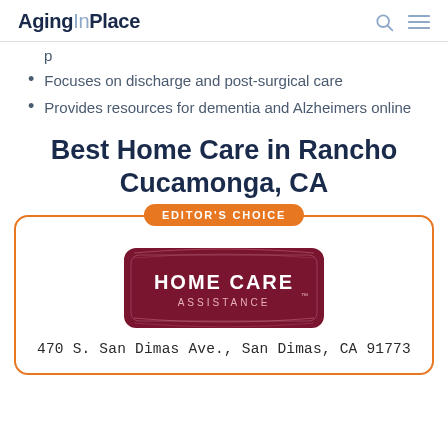AgingInPlace
p (partial, cut off at top)
Focuses on discharge and post-surgical care
Provides resources for dementia and Alzheimers online
Best Home Care in Rancho Cucamonga, CA
[Figure (infographic): Editor's Choice badge above a card containing the Home Care Assistance logo (dark red badge-shaped logo with 'HOME CARE ASSISTANCE' text) and address '470 S. San Dimas Ave., San Dimas, CA 91773']
470 S. San Dimas Ave., San Dimas, CA 91773